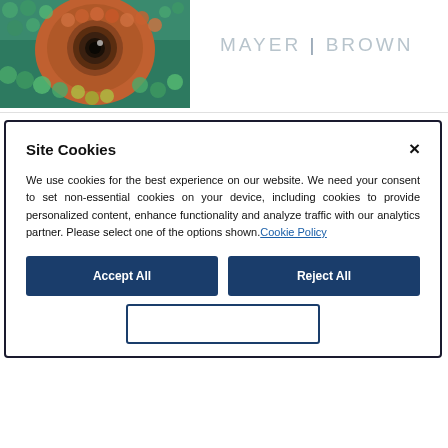[Figure (photo): Close-up photograph of a chameleon's eye with colorful textured scales in green, teal, orange, and brown tones]
MAYER | BROWN
Editor
Site Cookies
We use cookies for the best experience on our website. We need your consent to set non-essential cookies on your device, including cookies to provide personalized content, enhance functionality and analyze traffic with our analytics partner. Please select one of the options shown.Cookie Policy
Accept All
Reject All